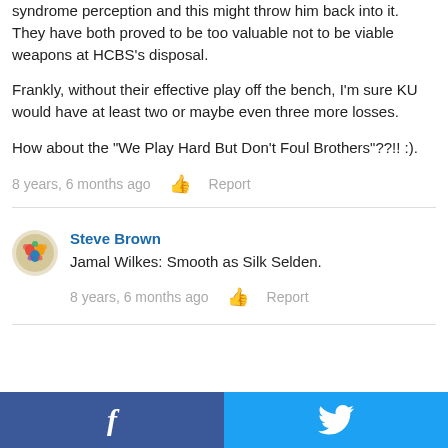syndrome perception and this might throw him back into it. They have both proved to be too valuable not to be viable weapons at HCBS's disposal.
Frankly, without their effective play off the bench, I'm sure KU would have at least two or maybe even three more losses.
How about the "We Play Hard But Don't Foul Brothers"??!! :).
8 years, 6 months ago  Report
Steve Brown
Jamal Wilkes: Smooth as Silk Selden.
8 years, 6 months ago  Report